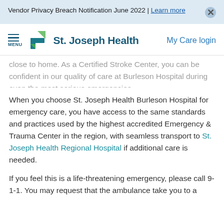Vendor Privacy Breach Notification June 2022 | Learn more
[Figure (logo): St. Joseph Health logo with green and teal cross/arrow icon and teal wordmark, plus hamburger menu icon and My Care login link]
close to home. As a Certified Stroke Center, you can be confident in our quality of care at Burleson Hospital during even the most serious emergencies.
When you choose St. Joseph Health Burleson Hospital for emergency care, you have access to the same standards and practices used by the highest accredited Emergency & Trauma Center in the region, with seamless transport to St. Joseph Health Regional Hospital if additional care is needed.
If you feel this is a life-threatening emergency, please call 9-1-1. You may request that the ambulance take you to a Burleson Hospital...